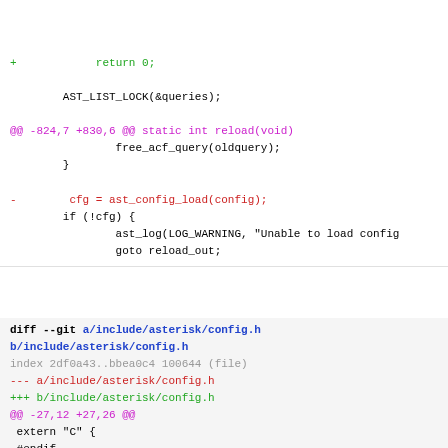+         return 0;

        AST_LIST_LOCK(&queries);

@@ -824,7 +830,6 @@ static int reload(void)
                free_acf_query(oldquery);
        }

-        cfg = ast_config_load(config);
        if (!cfg) {
                ast_log(LOG_WARNING, "Unable to load config
                goto reload_out;
diff --git a/include/asterisk/config.h b/include/asterisk/config.h
index 2df0a43..bbea0c4 100644 (file)
--- a/include/asterisk/config.h
+++ b/include/asterisk/config.h
@@ -27,12 +27,26 @@
 extern "C" {
 #endif

+#include "asterisk/utils.h"
 #include <stdarg.h>

 struct ast_config;

 struct ast_category;

+/*! Options for ast_config_load()
+ */
+enum {